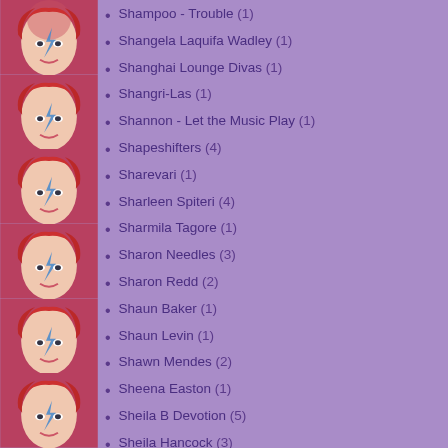[Figure (illustration): Repeating vertical strip of 6 Ziggy Stardust / David Bowie face portrait illustrations on the left side]
Shampoo - Trouble (1)
Shangela Laquifa Wadley (1)
Shanghai Lounge Divas (1)
Shangri-Las (1)
Shannon - Let the Music Play (1)
Shapeshifters (4)
Sharevari (1)
Sharleen Spiteri (4)
Sharmila Tagore (1)
Sharon Needles (3)
Sharon Redd (2)
Shaun Baker (1)
Shaun Levin (1)
Shawn Mendes (2)
Sheena Easton (1)
Sheila B Devotion (5)
Sheila Hancock (3)
Sheldon Harnick (1)
Shelley Winters (2)
Shena (1)
Sheridan - The Rivals (1)
Sheridan Smith (1)